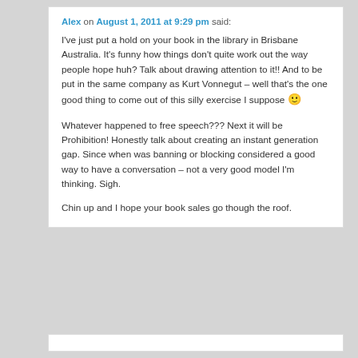Alex on August 1, 2011 at 9:29 pm said:
I've just put a hold on your book in the library in Brisbane Australia. It's funny how things don't quite work out the way people hope huh? Talk about drawing attention to it!! And to be put in the same company as Kurt Vonnegut – well that's the one good thing to come out of this silly exercise I suppose 🙂
Whatever happened to free speech??? Next it will be Prohibition! Honestly talk about creating an instant generation gap. Since when was banning or blocking considered a good way to have a conversation – not a very good model I'm thinking. Sigh.
Chin up and I hope your book sales go though the roof.